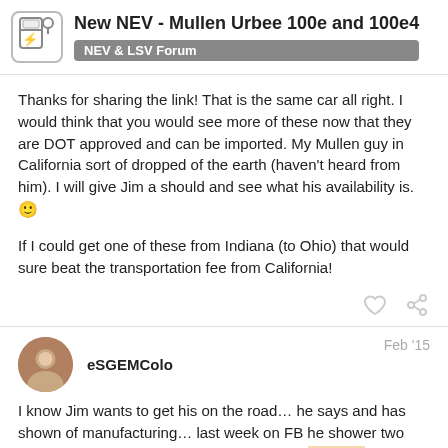New NEV - Mullen Urbee 100e and 100e4 | NEV & LSV Forum
Thanks for sharing the link! That is the same car all right. I would think that you would see more of these now that they are DOT approved and can be imported. My Mullen guy in California sort of dropped of the earth (haven't heard from him). I will give Jim a should and see what his availability is. 🙂
If I could get one of these from Indiana (to Ohio) that would sure beat the transportation fee from California!
eSGEMColo Feb '15
I know Jim wants to get his on the road… he says and has shown of manufacturing… last week on FB he shower two models a 4 seat and a truck… the Atomic [model] and I believe are rear wheel drive… Jim al[so] [says] [driving and] [to pick his] [il…] [over the St…]